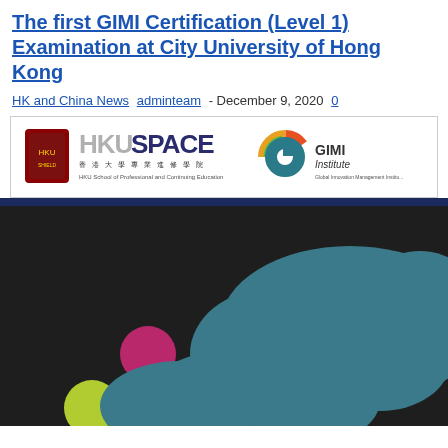The first GIMI Certification (Level 1) Examination at City University of Hong Kong
HK and China News adminteam - December 9, 2020 0
[Figure (logo): HKU SPACE and GIMI Institute logos side by side on white banner]
[Figure (photo): Dark background image with teal blob shapes and colored circles (magenta, teal, lime green) — decorative GIMI event graphic]